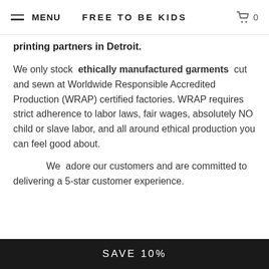MENU  FREE TO BE KIDS  0
printing partners in Detroit.
We only stock ethically manufactured garments cut and sewn at Worldwide Responsible Accredited Production (WRAP) certified factories. WRAP requires strict adherence to labor laws, fair wages, absolutely NO child or slave labor, and all around ethical production you can feel good about.
We adore our customers and are committed to delivering a 5-star customer experience.
SAVE 10%